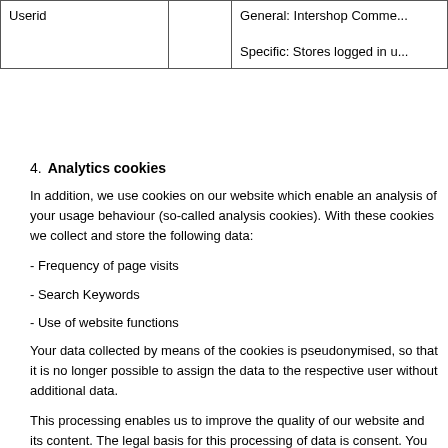| Userid |  | General: Intershop Comme... / Specific: Stores logged in u... |
| --- | --- | --- |
| Userid |  | General: Intershop Comme...

Specific: Stores logged in u... |
4. Analytics cookies
In addition, we use cookies on our website which enable an analysis of your usage behaviour (so-called analysis cookies). With these cookies we collect and store the following data:
- Frequency of page visits
- Search Keywords
- Use of website functions
Your data collected by means of the cookies is pseudonymised, so that it is no longer possible to assign the data to the respective user without additional data.
This processing enables us to improve the quality of our website and its content. The legal basis for this processing of data is consent. You can revoke your consent at any time with effect for the future, by managing your settings at the very top of this Policy.
Some analytics cookies are provided and/or accessed by